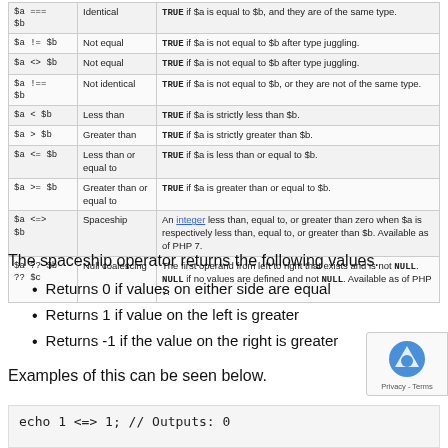| Example | Name | Result |
| --- | --- | --- |
| $a === $b | Identical | TRUE if $a is equal to $b, and they are of the same type. |
| $a != $b | Not equal | TRUE if $a is not equal to $b after type juggling. |
| $a <> $b | Not equal | TRUE if $a is not equal to $b after type juggling. |
| $a !== $b | Not identical | TRUE if $a is not equal to $b, or they are not of the same type. |
| $a < $b | Less than | TRUE if $a is strictly less than $b. |
| $a > $b | Greater than | TRUE if $a is strictly greater than $b. |
| $a <= $b | Less than or equal to | TRUE if $a is less than or equal to $b. |
| $a >= $b | Greater than or equal to | TRUE if $a is greater than or equal to $b. |
| $a <=> $b | Spaceship | An integer less than, equal to, or greater than zero when $a is respectively less than, equal to, or greater than $b. Available as of PHP 7. |
| $a ?? $b ?? $c | Null coalescing | The first operand from left to right that exists and is not NULL. NULL if no values are defined and not NULL. Available as of PHP 7. |
The spaceship operator returns the following values.
Returns 0 if values on either side are equal
Returns 1 if value on the left is greater
Returns -1 if the value on the right is greater
Examples of this can be seen below.
echo 1 <=> 1; // Outputs: 0